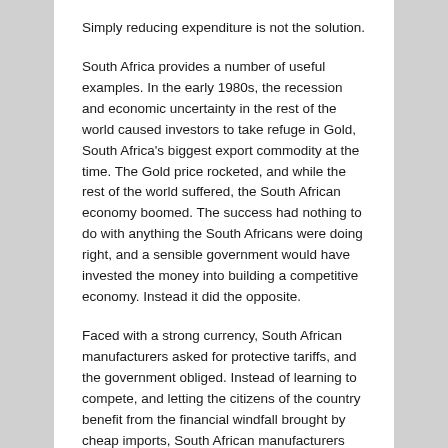Simply reducing expenditure is not the solution.
South Africa provides a number of useful examples. In the early 1980s, the recession and economic uncertainty in the rest of the world caused investors to take refuge in Gold, South Africa's biggest export commodity at the time. The Gold price rocketed, and while the rest of the world suffered, the South African economy boomed. The success had nothing to do with anything the South Africans were doing right, and a sensible government would have invested the money into building a competitive economy. Instead it did the opposite.
Faced with a strong currency, South African manufacturers asked for protective tariffs, and the government obliged. Instead of learning to compete, and letting the citizens of the country benefit from the financial windfall brought by cheap imports, South African manufacturers developed the habit of looking for protection. They became less and less competitive and some industries eventually withered and died.